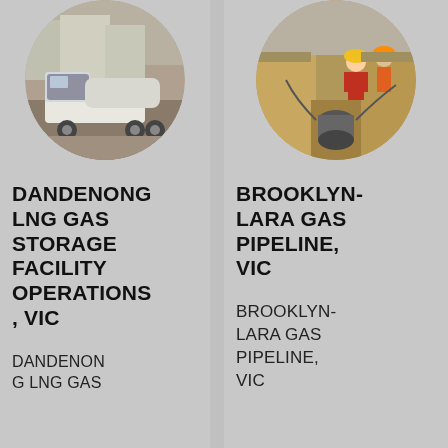[Figure (photo): Circular photo of a white tanker truck at an industrial facility, with storage tanks in the background.]
DANDENONG LNG GAS STORAGE FACILITY OPERATIONS, VIC
DANDENONG LNG GAS
[Figure (photo): Circular photo of construction workers in a trench working on a gas pipeline, with dirt surroundings.]
BROOKLYN-LARA GAS PIPELINE, VIC
BROOKLYN-LARA GAS PIPELINE, VIC